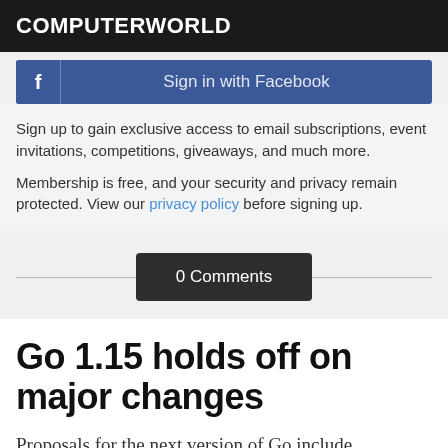COMPUTERWORLD
[Figure (screenshot): Facebook sign-in button with 'Sign in with Facebook' label on blue background]
Sign up to gain exclusive access to email subscriptions, event invitations, competitions, giveaways, and much more.
Membership is free, and your security and privacy remain protected. View our privacy policy before signing up.
0 Comments
Go 1.15 holds off on major changes
Proposals for the next version of Go include